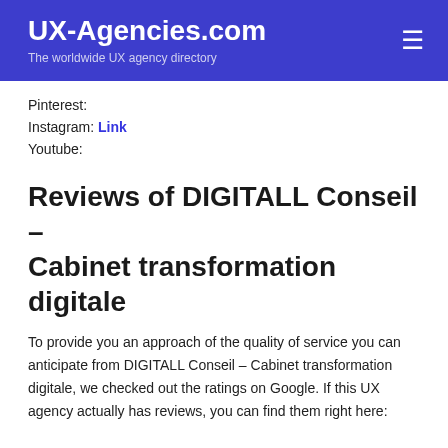UX-Agencies.com – The worldwide UX agency directory
Pinterest:
Instagram: Link
Youtube:
Reviews of DIGITALL Conseil – Cabinet transformation digitale
To provide you an approach of the quality of service you can anticipate from DIGITALL Conseil – Cabinet transformation digitale, we checked out the ratings on Google. If this UX agency actually has reviews, you can find them right here: